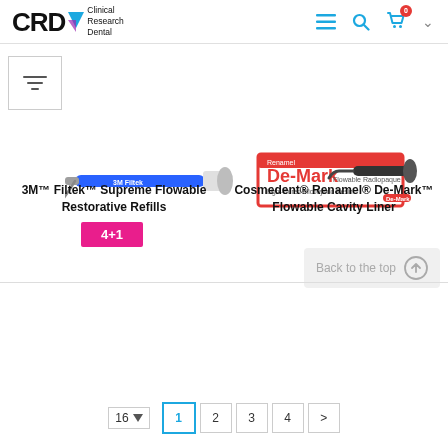CRD Clinical Research Dental
[Figure (photo): 3M Filtek Supreme Flowable Restorative Refills syringe product photo]
[Figure (photo): Cosmedent Renamel De-Mark Flowable Cavity Liner product box and syringe photo]
3M™ Filtek™ Supreme Flowable Restorative Refills
4+1
Cosmedent® Renamel® De-Mark™ Flowable Cavity Liner
Back to the top
16 ▼  1  2  3  4  >